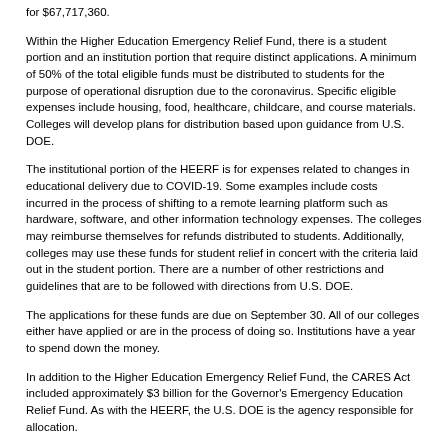for $67,717,360.
Within the Higher Education Emergency Relief Fund, there is a student portion and an institution portion that require distinct applications. A minimum of 50% of the total eligible funds must be distributed to students for the purpose of operational disruption due to the coronavirus. Specific eligible expenses include housing, food, healthcare, childcare, and course materials. Colleges will develop plans for distribution based upon guidance from U.S. DOE.
The institutional portion of the HEERF is for expenses related to changes in educational delivery due to COVID-19. Some examples include costs incurred in the process of shifting to a remote learning platform such as hardware, software, and other information technology expenses. The colleges may reimburse themselves for refunds distributed to students. Additionally, colleges may use these funds for student relief in concert with the criteria laid out in the student portion. There are a number of other restrictions and guidelines that are to be followed with directions from U.S. DOE.
The applications for these funds are due on September 30. All of our colleges either have applied or are in the process of doing so. Institutions have a year to spend down the money.
In addition to the Higher Education Emergency Relief Fund, the CARES Act included approximately $3 billion for the Governor's Emergency Education Relief Fund. As with the HEERF, the U.S. DOE is the agency responsible for allocation.